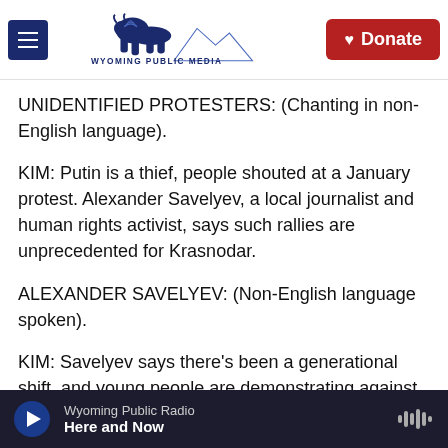Wyoming Public Media | Donate
UNIDENTIFIED PROTESTERS: (Chanting in non-English language).
KIM: Putin is a thief, people shouted at a January protest. Alexander Savelyev, a local journalist and human rights activist, says such rallies are unprecedented for Krasnodar.
ALEXANDER SAVELYEV: (Non-English language spoken).
KIM: Savelyev says there's been a generational shift, and young people are demonstrating against
Wyoming Public Radio | Here and Now